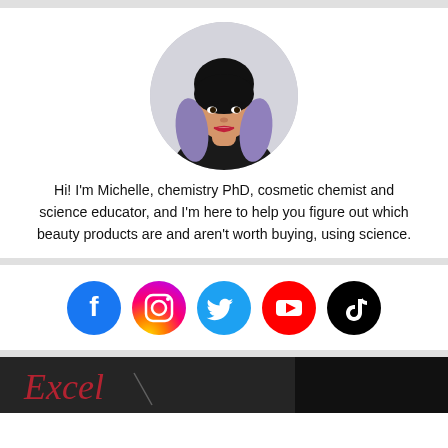[Figure (photo): Circular profile photo of Michelle, a woman with black bangs and purple/lavender ombre hair, wearing a black top, smiling slightly, against a light grey background.]
Hi! I'm Michelle, chemistry PhD, cosmetic chemist and science educator, and I'm here to help you figure out which beauty products are and aren't worth buying, using science.
[Figure (infographic): Row of five social media icons: Facebook (blue circle), Instagram (pink/magenta circle), Twitter (cyan/blue circle), YouTube (red circle), TikTok (black circle).]
[Figure (photo): Dark section at bottom with partial view of a dark background image with red cursive text partially visible reading 'Excel' or similar.]